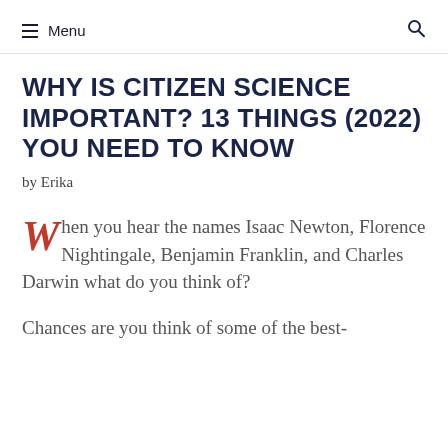Menu
WHY IS CITIZEN SCIENCE IMPORTANT? 13 THINGS (2022) YOU NEED TO KNOW
by Erika
When you hear the names Isaac Newton, Florence Nightingale, Benjamin Franklin, and Charles Darwin what do you think of?
Chances are you think of some of the best-